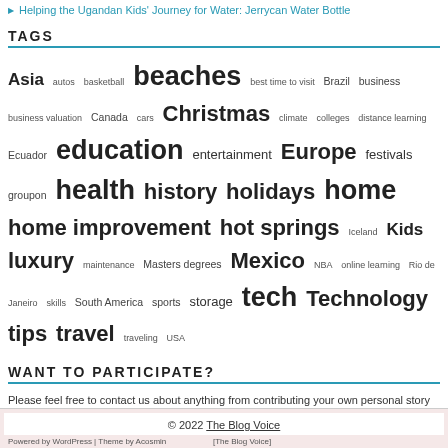Helping the Ugandan Kids' Journey for Water: Jerrycan Water Bottle
TAGS
Asia autos basketball beaches best time to visit Brazil business business valuation Canada cars Christmas climate colleges distance learning Ecuador education entertainment Europe festivals groupon health history holidays home home improvement hot springs Iceland Kids luxury maintenance Masters degrees Mexico NBA online learning Rio de Janeiro skills South America sports storage tech Technology tips travel traveling USA
WANT TO PARTICIPATE?
Please feel free to contact us about anything from contributing your own personal story to the project or just to say hello! click here for the contact form.
© 2022 The Blog Voice